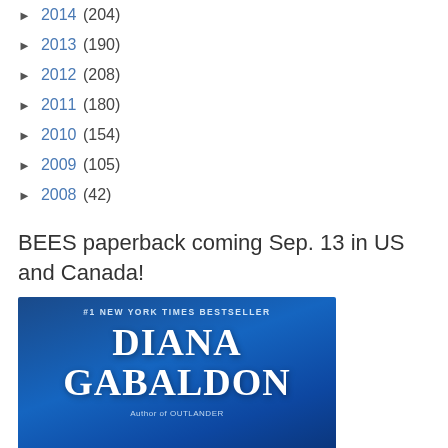► 2014 (204)
► 2013 (190)
► 2012 (208)
► 2011 (180)
► 2010 (154)
► 2009 (105)
► 2008 (42)
BEES paperback coming Sep. 13 in US and Canada!
[Figure (photo): Book cover: #1 New York Times Bestseller, Diana Gabaldon, Author of Outlander — blue gradient cover]